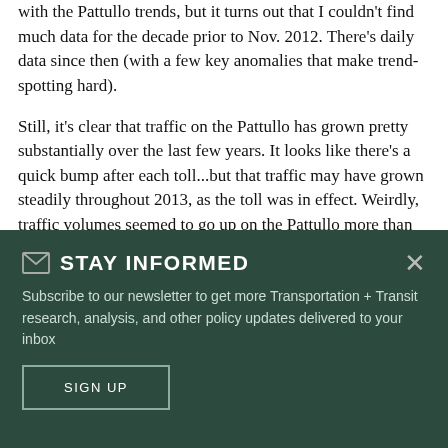with the Pattullo trends, but it turns out that I couldn't find much data for the decade prior to Nov. 2012. There's daily data since then (with a few key anomalies that make trend-spotting hard).
Still, it's clear that traffic on the Pattullo has grown pretty substantially over the last few years. It looks like there's a quick bump after each toll...but that traffic may have grown steadily throughout 2013, as the toll was in effect. Weirdly, traffic volumes seemed to go up on the Pattullo more than they went down on Port Mann — which may
STAY INFORMED
Subscribe to our newsletter to get more Transportation + Transit research, analysis, and other policy updates delivered to your inbox
SIGN UP